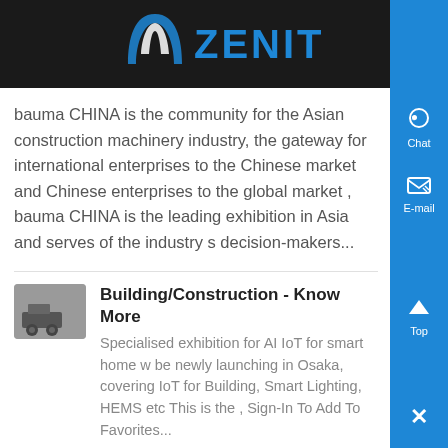ZENIT
bauma CHINA is the community for the Asian construction machinery industry, the gateway for international enterprises to the Chinese market and Chinese enterprises to the global market , bauma CHINA is the leading exhibition in Asia and serves of the industry s decision-makers...
Building/Construction - Know More
Specialised exhibition for AI IoT for smart home w be newly launching in Osaka, covering IoT for Building, Smart Lighting, HEMS etc This is the , Sign-In To Add To Favorites...
The 9th China International Building